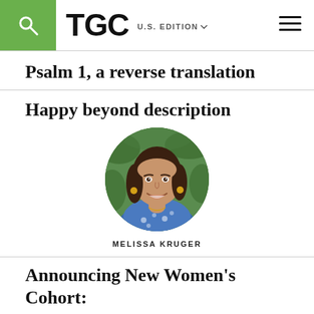TGC U.S. EDITION
Psalm 1, a reverse translation
Happy beyond description
[Figure (photo): Circular portrait photo of Melissa Kruger, a woman with long dark hair, wearing a blue patterned top, smiling, with a green blurred background.]
MELISSA KRUGER
Announcing New Women's Cohort: